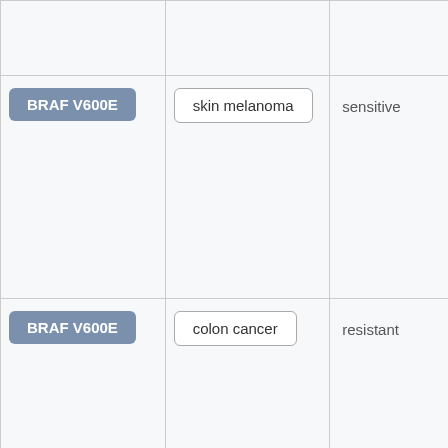|  |  |  |
| BRAF V600E | skin melanoma | sensitive |
| BRAF V600E | colon cancer | resistant |